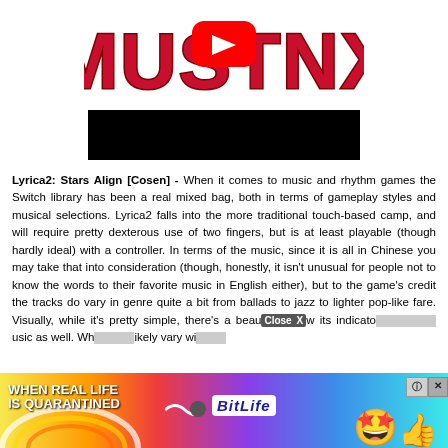[Figure (logo): MUSTNX logo in red bubble letters with a YouTube play button icon overlaid in the center]
[Figure (screenshot): Black video thumbnail bar, likely a YouTube video embed]
Lyrica2: Stars Align [Cosen] - When it comes to music and rhythm games the Switch library has been a real mixed bag, both in terms of gameplay styles and musical selections. Lyrica2 falls into the more traditional touch-based camp, and will require pretty dexterous use of two fingers, but is at least playable (though hardly ideal) with a controller. In terms of the music, since it is all in Chinese you may take that into consideration (though, honestly, it isn't unusual for people not to know the words to their favorite music in English either), but to the game's credit the tracks do vary in genre quite a bit from ballads to jazz to lighter pop-like fare. Visually, while it's pretty simple, there's a beauty in how its indicators flow in sync the music as well. Wh... likely vary wi...
[Figure (screenshot): BitLife advertisement banner at the bottom with rainbow background, 'WHEN REAL LIFE IS QUARANTINED' text, star emoji face with mask, and Close X button]